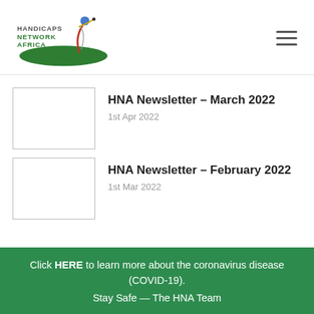[Figure (logo): Handicaps Network Africa logo with golfer silhouette and green oval, text reads HANDICAPS NETWORK AFRICA]
HNA Newsletter – March 2022
1st Apr 2022
HNA Newsletter – February 2022
1st Mar 2022
Click HERE to learn more about the coronavirus disease (COVID-19). Stay Safe — The HNA Team